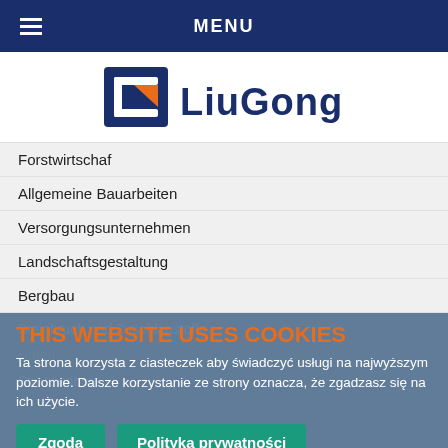MENU
[Figure (logo): LiuGong logo — dark blue stylized 'G' icon with orange triangle accent, followed by bold dark blue text 'LiuGong']
Forstwirtschaf
Allgemeine Bauarbeiten
Versorgungsunternehmen
Landschaftsgestaltung
Bergbau
Steinbruch und Zuschlagstoffe
Häfen
Strassenbau
Unterstützung
THIS WEBSITE USES COOKIES
Ta strona korzysta z ciasteczek aby świadczyć usługi na najwyższym poziomie. Dalsze korzystanie ze strony oznacza, że zgadzasz się na ich użycie.
Service
Original-Ersatzteile